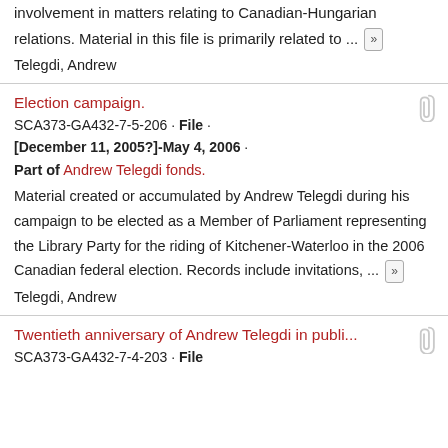involvement in matters relating to Canadian-Hungarian relations. Material in this file is primarily related to ...
Telegdi, Andrew
Election campaign.
SCA373-GA432-7-5-206 · File · [December 11, 2005?]-May 4, 2006 · Part of Andrew Telegdi fonds.
Material created or accumulated by Andrew Telegdi during his campaign to be elected as a Member of Parliament representing the Library Party for the riding of Kitchener-Waterloo in the 2006 Canadian federal election. Records include invitations, ...
Telegdi, Andrew
Twentieth anniversary of Andrew Telegdi in publi...
SCA373-GA432-7-4-203 · File